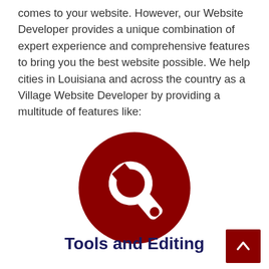comes to your website. However, our Website Developer provides a unique combination of expert experience and comprehensive features to bring you the best website possible. We help cities in Louisiana and across the country as a Village Website Developer by providing a multitude of features like:
[Figure (illustration): Dark red circle with a white wrench/tool icon in the center]
Tools and Editing
Drag and Drop Web-based Interface allows for effortless content adjustments
Unlimited pages with an easy to customize Content Editor
Surveys, Sign-up Forms, Citizen Reporting, Comment